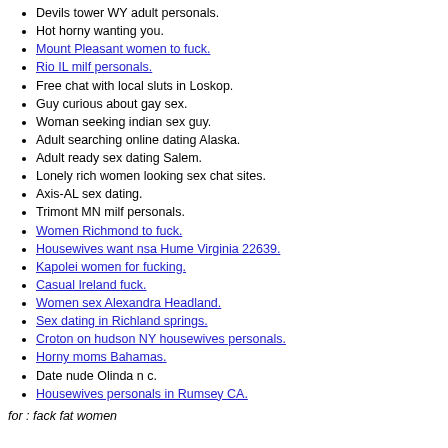Devils tower WY adult personals.
Hot horny wanting you.
Mount Pleasant women to fuck.
Rio IL milf personals.
Free chat with local sluts in Loskop.
Guy curious about gay sex.
Woman seeking indian sex guy.
Adult searching online dating Alaska.
Adult ready sex dating Salem.
Lonely rich women looking sex chat sites.
Axis-AL sex dating.
Trimont MN milf personals.
Women Richmond to fuck.
Housewives want nsa Hume Virginia 22639.
Kapolei women for fucking.
Casual Ireland fuck.
Women sex Alexandra Headland.
Sex dating in Richland springs.
Croton on hudson NY housewives personals.
Horny moms Bahamas.
Date nude Olinda n c.
Housewives personals in Rumsey CA.
for : fack fat women